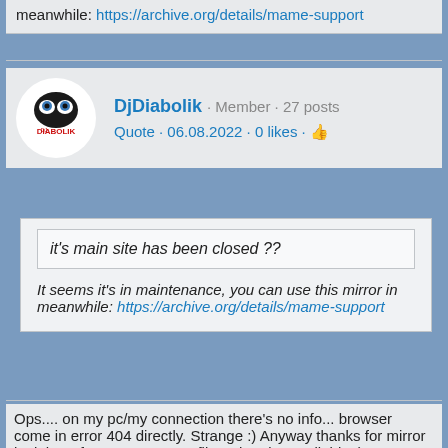meanwhile: https://archive.org/details/mame-support
DjDiabolik · Member · 27 posts
Quote · 06.08.2022 · 0 likes · 👍
it's main site has been closed ??
It seems it's in maintenance, you can use this mirror in meanwhile: https://archive.org/details/mame-support
Ops.... on my pc/my connection there's no info... browser come in error 404 directly. Strange :) Anyway thanks for mirror look here for 0.246 support files when it's available :)